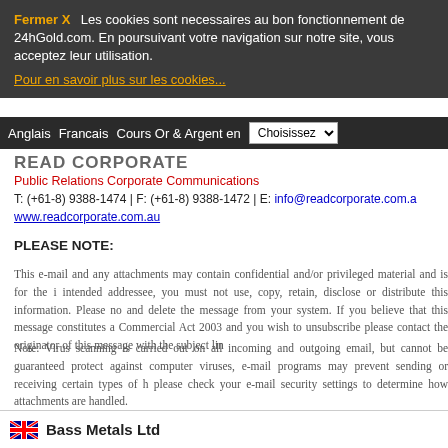Fermer X  Les cookies sont necessaires au bon fonctionnement de 24hGold.com. En poursuivant votre navigation sur notre site, vous acceptez leur utilisation.
Pour en savoir plus sur les cookies...
Anglais  Francais  Cours Or & Argent en  Choisissez
READ CORPORATE
Public Relations Corporate Communications
T: (+61-8) 9388-1474 | F: (+61-8) 9388-1472 | E: info@readcorporate.com.au
www.readcorporate.com.au
PLEASE NOTE:
This e-mail and any attachments may contain confidential and/or privileged material and is for the intended addressee, you must not use, copy, retain, disclose or distribute this information. Please not and delete the message from your system. If you believe that this message constitutes a Commercial Act 2003 and you wish to unsubscribe please contact the originator of this message with the subject li
Note: Virus scanning is carried out on all incoming and outgoing email, but cannot be guaranteed protect against computer viruses, e-mail programs may prevent sending or receiving certain types of please check your e-mail security settings to determine how attachments are handled.
<
Bass Metals Ltd